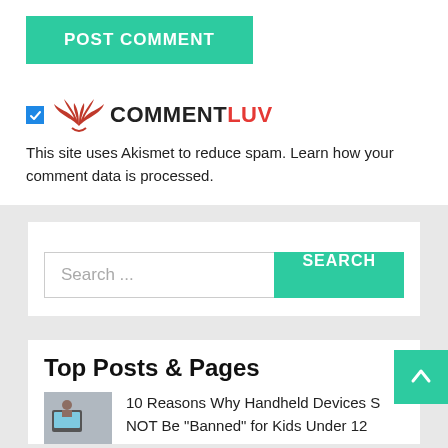POST COMMENT
[Figure (logo): CommentLuv logo with red wings and COMMENTLUV text in black and red, with blue checkbox to the left]
This site uses Akismet to reduce spam. Learn how your comment data is processed.
Search ...
Top Posts & Pages
10 Reasons Why Handheld Devices S... NOT Be "Banned" for Kids Under 12